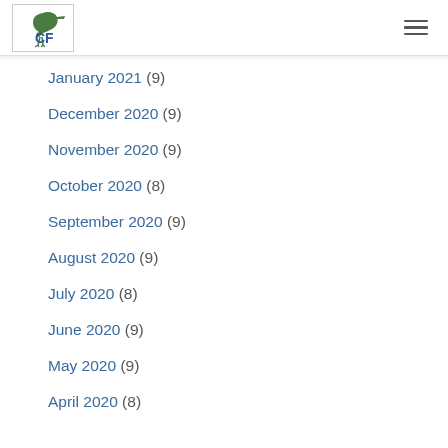JCF logo and navigation
January 2021 (9)
December 2020 (9)
November 2020 (9)
October 2020 (8)
September 2020 (9)
August 2020 (9)
July 2020 (8)
June 2020 (9)
May 2020 (9)
April 2020 (8)